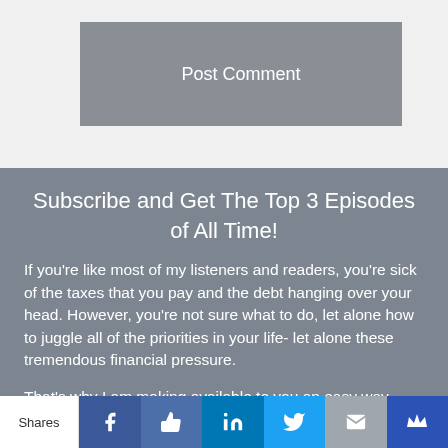[Figure (other): Post Comment button — gray rounded rectangle with white text]
Subscribe and Get The Top 3 Episodes of All Time!
If you're like most of my listeners and readers, you're sick of the taxes that you pay and the debt hanging over your head. However, you're not sure what to do, let alone how to juggle all of the priorities in your life- let alone these tremendous financial pressure.
That's why I am making available to you an easy way
[Figure (other): Social sharing bar with Shares label and icons: Facebook, Like (thumbs up), LinkedIn, Twitter, Email, Crown]